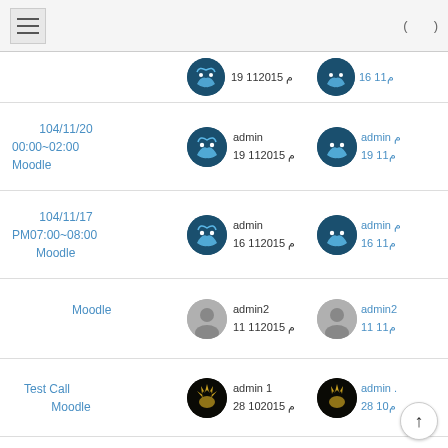แฮมเบอร์เกอร์เมนู (เมนู)
ประกาศระบบ (ตัดการเชื่อมต่อ) 19 11ม 2015
กำหนด 104/11/20 00:00~02:00 ปิด Moodle(ประกาศ) admin การสร้าง 19 11ม 2015
กำหนด 104/11/17 PM07:00~08:00 การMoodle(ประกาศ) admin การสร้าง 16 11ม 2015
เพิ่มMoodleเพิ่ม(ประกาศ) admin2 การสร้าง 11 11ม 2015
[Test Call](ประกาศ) ระบบ Moodle ทดสอบ admin 1 28 10ม 2015